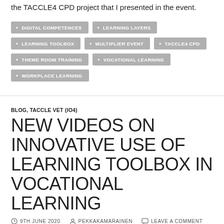the TACCLE4 CPD project that I presented in the event.
DIGITAL COMPETENCES
LEARNING LAYERS
LEARNING TOOLBOX
MULTIPLIER EVENT
TACCLE4 CPD
THEME ROOM TRAINING
VOCATIONAL LEARNING
WORKPLACE LEARNING
BLOG, TACCLE VET (IO4)
NEW VIDEOS ON INNOVATIVE USE OF LEARNING TOOLBOX IN VOCATIONAL LEARNING
9TH JUNE 2020  PEKKAKAMARAINEN  LEAVE A COMMENT